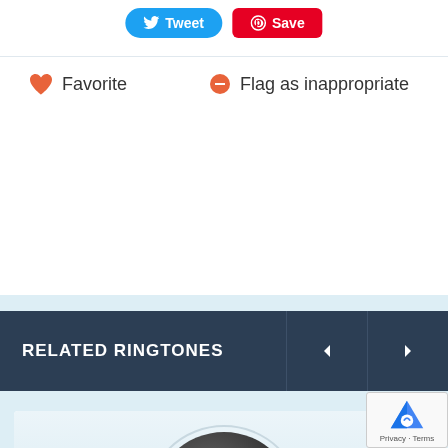[Figure (screenshot): Twitter Tweet button (blue, rounded) and Pinterest Save button (red)]
❤ Favorite
⊖ Flag as inappropriate
RELATED RINGTONES
[Figure (illustration): Play button circle icon - dark gray circle with white triangle play arrow, used for ringtone playback]
SNSD Girls' Generation - Flower Power (Dance Ver.) English Karaoke Subs Romanization HD
by addieluvzsanrio